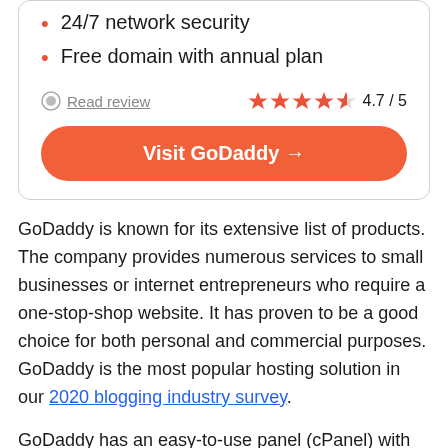24/7 network security
Free domain with annual plan
Read review   ★★★★½ 4.7 / 5
Visit GoDaddy →
GoDaddy is known for its extensive list of products. The company provides numerous services to small businesses or internet entrepreneurs who require a one-stop-shop website. It has proven to be a good choice for both personal and commercial purposes. GoDaddy is the most popular hosting solution in our 2020 blogging industry survey.
GoDaddy has an easy-to-use panel (cPanel) with an